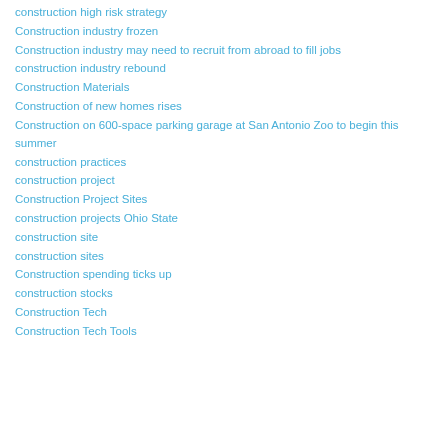construction high risk strategy
Construction industry frozen
Construction industry may need to recruit from abroad to fill jobs
construction industry rebound
Construction Materials
Construction of new homes rises
Construction on 600-space parking garage at San Antonio Zoo to begin this summer
construction practices
construction project
Construction Project Sites
construction projects Ohio State
construction site
construction sites
Construction spending ticks up
construction stocks
Construction Tech
Construction Tech Tools